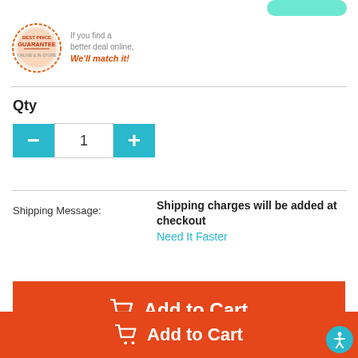[Figure (logo): Best Price Guarantee badge with orange circle and text 'If you find a better deal online, We'll match it!']
Qty
[Figure (other): Quantity selector with minus button, input showing 1, and plus button in teal]
Shipping Message:
Shipping charges will be added at checkout
Need It Faster
[Figure (other): Orange Add to Cart button with cart icon]
[Figure (other): Compare checkbox with COMPARE label]
[Figure (other): Orange bottom bar Add to Cart button with cart icon]